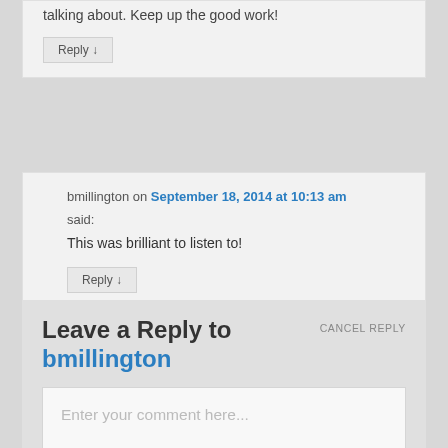talking about. Keep up the good work!
Reply ↓
bmillington on September 18, 2014 at 10:13 am said:
This was brilliant to listen to!
Reply ↓
Leave a Reply to bmillington
CANCEL REPLY
Enter your comment here...